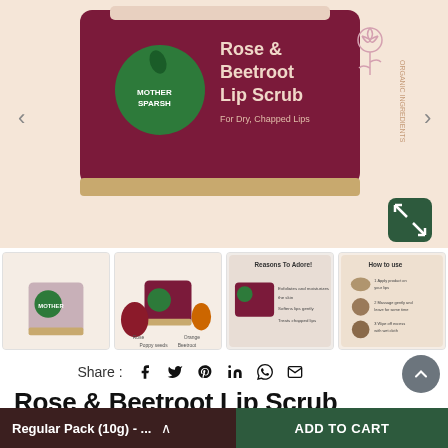[Figure (photo): Mother Sparsh Rose & Beetroot Lip Scrub product jar on peach/cream background. Dark maroon/berry colored jar with gold lid. Green circle logo with 'MOTHER SPARSH' branding. Text on jar reads 'Rose & Beetroot Lip Scrub For Dry, Chapped Lips'. Rose illustration on right side. Expand/zoom button in bottom right corner.]
[Figure (photo): Row of four product thumbnail images: 1) Side view of jar on cream background, 2) Product with beetroot and rose ingredients, 3) 'Reasons To Adore!' infographic showing product benefits, 4) 'How to use' instructions card]
Share : f  𝕏  𝒫  in  ⊕  ✉
Rose & Beetroot Lip Scrub
In Stock
Regular Pack (10g) - ...
ADD TO CART